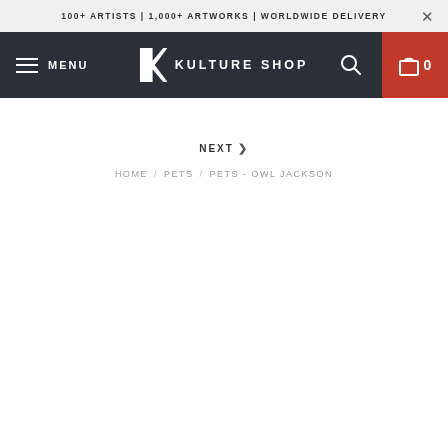100+ ARTISTS | 1,000+ ARTWORKS | WORLDWIDE DELIVERY
[Figure (screenshot): Kulture Shop website navigation bar with hamburger menu, K logo, search icon, and red cart button showing 0 items]
NEXT >
HOME / PETS / PETS - OWL JACKSON